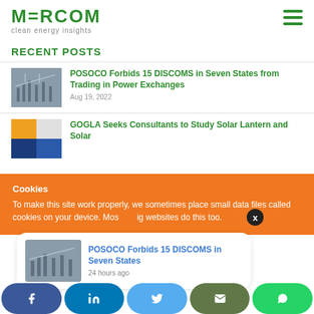MERCOM clean energy insights
RECENT POSTS
POSOCO Forbids 15 DISCOMS in Seven States from Trading in Power Exchanges
Aug 19, 2022
GOGLA Seeks Consultants to Study Solar Lantern and Solar
Cookies
To make this site work properly, we sometimes place small data files called cookies on your device. Most big websites do this too.
POSOCO Forbids 15 DISCOMS in Seven States
24 hours ago